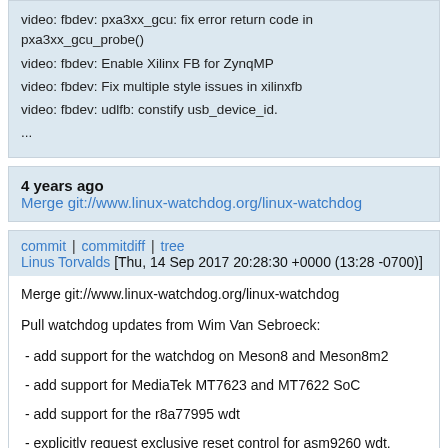video: fbdev: pxa3xx_gcu: fix error return code in pxa3xx_gcu_probe()
video: fbdev: Enable Xilinx FB for ZynqMP
video: fbdev: Fix multiple style issues in xilinxfb
video: fbdev: udlfb: constify usb_device_id.
...
4 years ago   Merge git://www.linux-watchdog.org/linux-watchdog
commit | commitdiff | tree
Linus Torvalds [Thu, 14 Sep 2017 20:28:30 +0000 (13:28 -0700)]
Merge git://www.linux-watchdog.org/linux-watchdog

Pull watchdog updates from Wim Van Sebroeck:

 - add support for the watchdog on Meson8 and Meson8m2

 - add support for MediaTek MT7623 and MT7622 SoC

 - add support for the r8a77995 wdt

 - explicitly request exclusive reset control for asm9260 wdt,